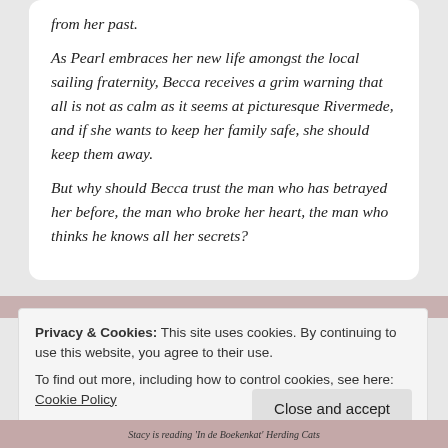from her past.
As Pearl embraces her new life amongst the local sailing fraternity, Becca receives a grim warning that all is not as calm as it seems at picturesque Rivermede, and if she wants to keep her family safe, she should keep them away.
But why should Becca trust the man who has betrayed her before, the man who broke her heart, the man who thinks he knows all her secrets?
[Figure (photo): Partial image strip of book covers visible behind cookie banner]
Privacy & Cookies: This site uses cookies. By continuing to use this website, you agree to their use.
To find out more, including how to control cookies, see here: Cookie Policy
Close and accept
[Figure (photo): Bottom strip showing book covers including text: Stacy is reading 'In de Boekenkat' Herding Cats]